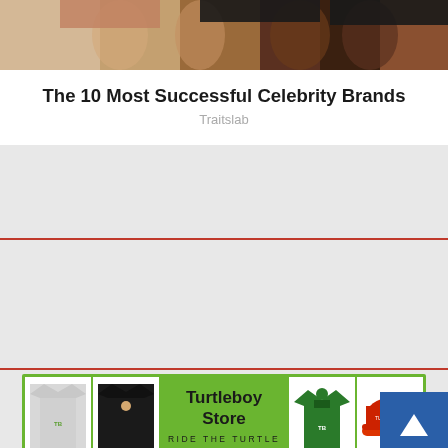[Figure (photo): Cropped lower body photo of people wearing shorts/tights, partial view of legs]
The 10 Most Successful Celebrity Brands
Traitslab
[Figure (infographic): Turtleboy Store banner advertisement with green background, showing t-shirt, black t-shirt, hoodie, and red hat merchandise. Text reads: Turtleboy Store RIDE THE TURTLE]
INTERESTING FOR YOU
[Figure (photo): Partial view of a person's face/hair at bottom of page]